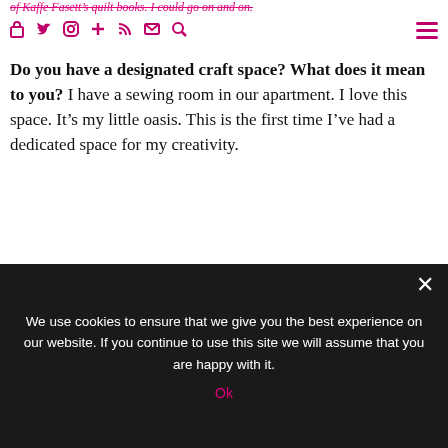of Kaffe Fasett's quilt books. I could go on and on.
Do you have a designated craft space? What does it mean to you? I have a sewing room in our apartment. I love this space. It's my little oasis. This is the first time I've had a dedicated space for my creativity.
[Figure (photo): A placeholder image box with broken image icon, representing a photo of a craft/sewing space.]
We use cookies to ensure that we give you the best experience on our website. If you continue to use this site we will assume that you are happy with it.
Ok